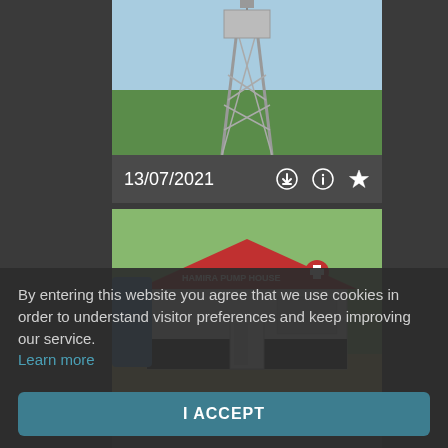[Figure (photo): Water tower structure on a metal frame against a blue sky with trees in background]
13/07/2021
[Figure (photo): Hamira Pump House building with red roof, white walls, and blue water tank visible. British Red Cross logo on building.]
13/07/2021
By entering this website you agree that we use cookies in order to understand visitor preferences and keep improving our service. Learn more
I ACCEPT